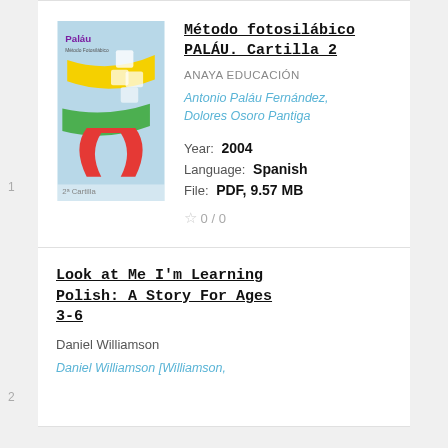[Figure (illustration): Book cover for Método fotosilábico PALÁU Cartilla 2, featuring colorful curved stripes (yellow, green) and a red horseshoe magnet shape on a light blue background, with small thumbnail cards in the upper right.]
Método fotosilábico PALÁU. Cartilla 2
ANAYA EDUCACIÓN
Antonio Paláu Fernández, Dolores Osoro Pantiga
Year: 2004
Language: Spanish
File: PDF, 9.57 MB
☆ 0 / 0
Look at Me I'm Learning Polish: A Story For Ages 3-6
Daniel Williamson
Daniel Williamson [Williamson,